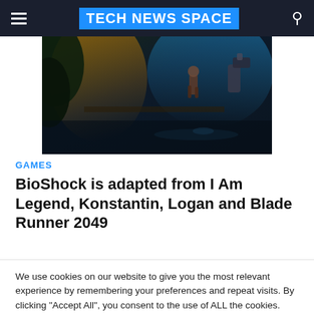TECH NEWS SPACE
[Figure (illustration): Dark fantasy/sci-fi action game artwork showing a character running through a dark, atmospheric environment with dramatic lighting]
GAMES
BioShock is adapted from I Am Legend, Konstantin, Logan and Blade Runner 2049
We use cookies on our website to give you the most relevant experience by remembering your preferences and repeat visits. By clicking "Accept All", you consent to the use of ALL the cookies. However, you may visit "Cookie Settings" to provide a controlled consent. Read More